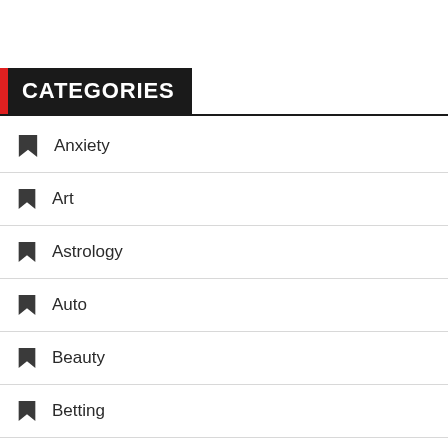CATEGORIES
Anxiety
Art
Astrology
Auto
Beauty
Betting
Business
Career
Casino